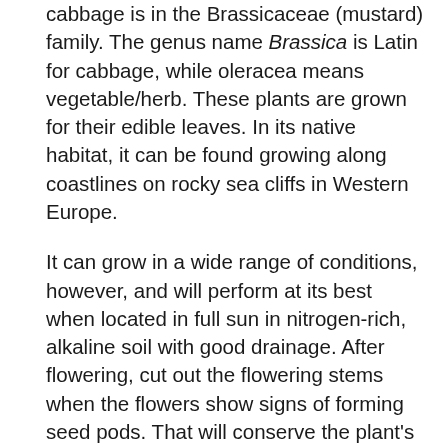cabbage is in the Brassicaceae (mustard) family. The genus name Brassica is Latin for cabbage, while oleracea means vegetable/herb. These plants are grown for their edible leaves. In its native habitat, it can be found growing along coastlines on rocky sea cliffs in Western Europe.
It can grow in a wide range of conditions, however, and will perform at its best when located in full sun in nitrogen-rich, alkaline soil with good drainage. After flowering, cut out the flowering stems when the flowers show signs of forming seed pods. That will conserve the plant's energy or resources for additional leafing up. Propagate by seed or stem cuttings.
The foliage of ornamental cabbage is fleshier and thicker than other Brassica species. That gives it an edge in difficult growing conditions, allowing the foliage to store water and nutrients. It forms a loose head of large green or blue-green leaves that are edible. They